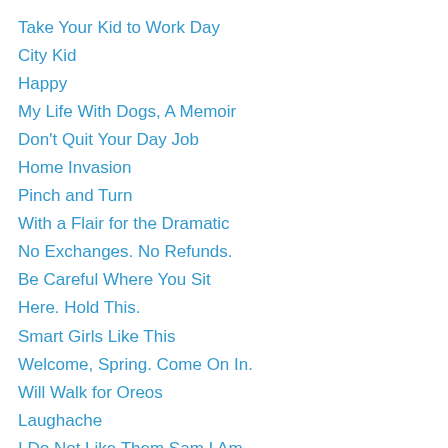Take Your Kid to Work Day
City Kid
Happy
My Life With Dogs, A Memoir
Don't Quit Your Day Job
Home Invasion
Pinch and Turn
With a Flair for the Dramatic
No Exchanges. No Refunds.
Be Careful Where You Sit
Here. Hold This.
Smart Girls Like This
Welcome, Spring. Come On In.
Will Walk for Oreos
Laughache
I Do Not Like Them Sam I Am
Management Problem
Break Up
Winter Wonderland
Brain, Child